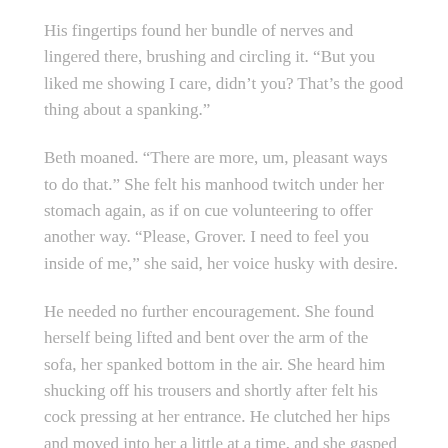His fingertips found her bundle of nerves and lingered there, brushing and circling it. “But you liked me showing I care, didn’t you? That’s the good thing about a spanking.”
Beth moaned. “There are more, um, pleasant ways to do that.” She felt his manhood twitch under her stomach again, as if on cue volunteering to offer another way. “Please, Grover. I need to feel you inside of me,” she said, her voice husky with desire.
He needed no further encouragement. She found herself being lifted and bent over the arm of the sofa, her spanked bottom in the air. She heard him shucking off his trousers and shortly after felt his cock pressing at her entrance. He clutched her hips and moved into her a little at a time, and she gasped and threw back her head as he filled her. He began his movements slow and gentle but soon picked up speed. He thrust in and out and landed a